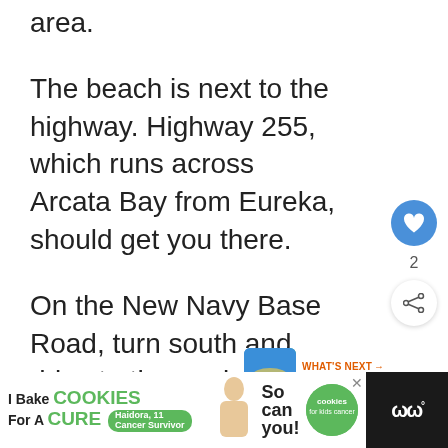area.
The beach is next to the highway. Highway 255, which runs across Arcata Bay from Eureka, should get you there.
On the New Navy Base Road, turn south and drive to the peninsula's edge. Be prepared for unique beach activities, including driving off-highway vehicles, off-road motorcycles, and ATVs.
[Figure (other): Advertisement bar at bottom: 'I Bake COOKIES For A CURE' with Haidora, 11 Cancer Survivor, and 'So can you!' with cookies for kids cancer logo]
[Figure (other): What's Next sidebar widget showing 'The 12 Best Beaches in...' with a heart button (2 likes) and share button]